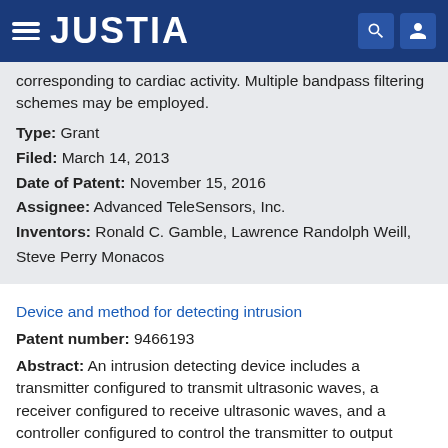JUSTIA
corresponding to cardiac activity. Multiple bandpass filtering schemes may be employed.
Type: Grant
Filed: March 14, 2013
Date of Patent: November 15, 2016
Assignee: Advanced TeleSensors, Inc.
Inventors: Ronald C. Gamble, Lawrence Randolph Weill, Steve Perry Monacos
Device and method for detecting intrusion
Patent number: 9466193
Abstract: An intrusion detecting device includes a transmitter configured to transmit ultrasonic waves, a receiver configured to receive ultrasonic waves, and a controller configured to control the transmitter to output ultrasonic waves with a reference period, and